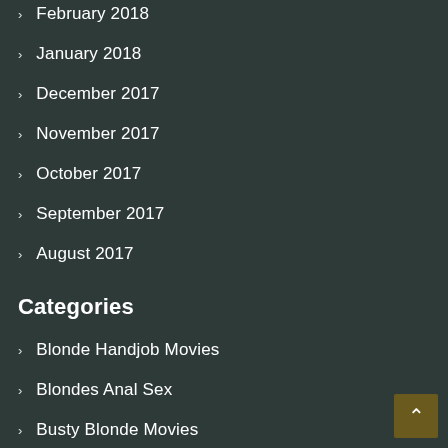February 2018
January 2018
December 2017
November 2017
October 2017
September 2017
August 2017
Categories
Blonde Handjob Movies
Blondes Anal Sex
Busty Blonde Movies
Group Sex Blondes Movies